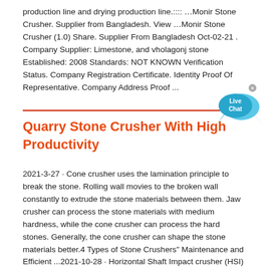production line and drying production line.:::: …Monir Stone Crusher. Supplier from Bangladesh. View …Monir Stone Crusher (1.0) Share. Supplier From Bangladesh Oct-02-21 . Company Supplier: Limestone, and vholagonj stone Established: 2008 Standards: NOT KNOWN Verification Status. Company Registration Certificate. Identity Proof Of Representative. Company Address Proof ...
[Figure (other): Live Chat bubble widget with blue speech bubble shapes and 'Live Chat' text, with a close X button]
Quarry Stone Crusher With High Productivity
2021-3-27 · Cone crusher uses the lamination principle to break the stone. Rolling wall movies to the broken wall constantly to extrude the stone materials between them. Jaw crusher can process the stone materials with medium hardness, while the cone crusher can process the hard stones. Generally, the cone crusher can shape the stone materials better.4 Types of Stone Crushers" Maintenance and Efficient ...2021-10-28 · Horizontal Shaft Impact crusher (HSI) Impact crusher working animation The working principle of impact crusher is that the spinning rotor under the driving of the motor can